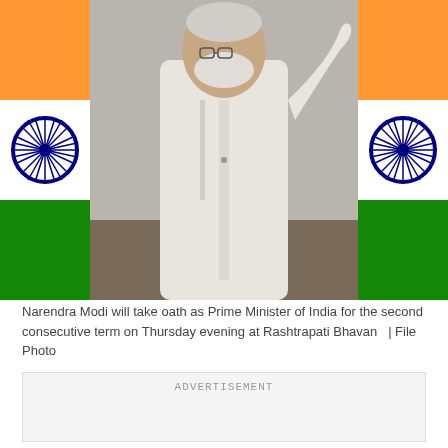[Figure (photo): Narendra Modi in white kurta raising his hand, standing in front of Indian national flags with saffron, white and green colors and the Ashoka Chakra emblem visible on both sides.]
Narendra Modi will take oath as Prime Minister of India for the second consecutive term on Thursday evening at Rashtrapati Bhavan   | File Photo
ADVERTISEMENT